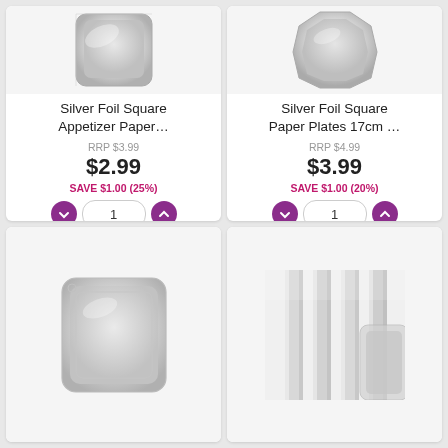[Figure (photo): Silver foil square appetizer paper plate product image]
Silver Foil Square Appetizer Paper…
RRP $3.99
$2.99
SAVE $1.00 (25%)
[Figure (photo): Silver foil square paper plates 17cm product image]
Silver Foil Square Paper Plates 17cm …
RRP $4.99
$3.99
SAVE $1.00 (20%)
[Figure (photo): Silver foil rectangular paper plate product image]
[Figure (photo): Silver foil striped product image]